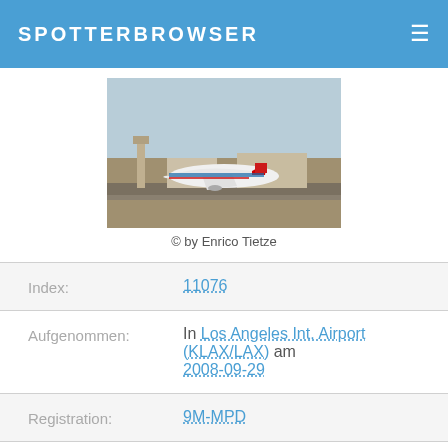SPOTTERBROWSER
[Figure (photo): Malaysia Airlines Boeing 747 aircraft on runway at Los Angeles International Airport, photographed by Enrico Tietze]
© by Enrico Tietze
| Field | Value |
| --- | --- |
| Index: | 11076 |
| Aufgenommen: | In Los Angeles Int. Airport (KLAX/LAX) am 2008-09-29 |
| Registration: | 9M-MPD |
| Airline: | Malaysia Airlines |